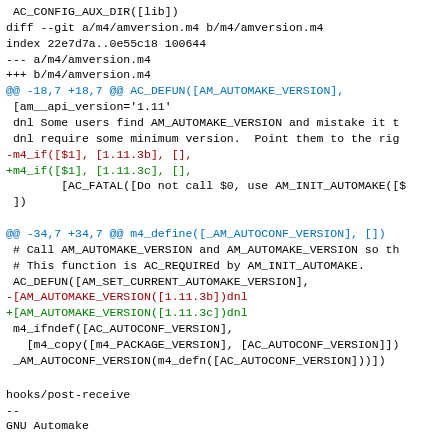AC_CONFIG_AUX_DIR([lib])
diff --git a/m4/amversion.m4 b/m4/amversion.m4
index 22e7d7a..0e55c18 100644
--- a/m4/amversion.m4
+++ b/m4/amversion.m4
@@ -18,7 +18,7 @@ AC_DEFUN([AM_AUTOMAKE_VERSION],
 [am__api_version='1.11'
 dnl Some users find AM_AUTOMAKE_VERSION and mistake it t
 dnl require some minimum version.  Point them to the rig
-m4_if([$1], [1.11.3b], [],
+m4_if([$1], [1.11.3c], [],
        [AC_FATAL([Do not call $0, use AM_INIT_AUTOMAKE([$
 ])

@@ -34,7 +34,7 @@ m4_define([_AM_AUTOCONF_VERSION], [])
 # Call AM_AUTOMAKE_VERSION and AM_AUTOMAKE_VERSION so th
 # This function is AC_REQUIREd by AM_INIT_AUTOMAKE.
 AC_DEFUN([AM_SET_CURRENT_AUTOMAKE_VERSION],
-[AM_AUTOMAKE_VERSION([1.11.3b])dnl
+[AM_AUTOMAKE_VERSION([1.11.3c])dnl
 m4_ifndef([AC_AUTOCONF_VERSION],
   [m4_copy([m4_PACKAGE_VERSION], [AC_AUTOCONF_VERSION])]
 _AM_AUTOCONF_VERSION(m4_defn([AC_AUTOCONF_VERSION]))]
hooks/post-receive
--
GNU Automake